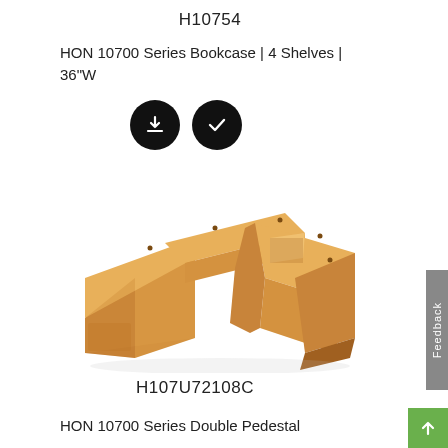H10754
HON 10700 Series Bookcase | 4 Shelves | 36"W
[Figure (illustration): Two circular black buttons: one with a download arrow icon, one with a checkmark icon]
[Figure (photo): 3D rendering of a honey/tan colored U-shaped or double pedestal desk unit viewed from an angle, showing the HON 10700 Series Double Pedestal furniture piece]
H107U72108C
HON 10700 Series Double Pedestal